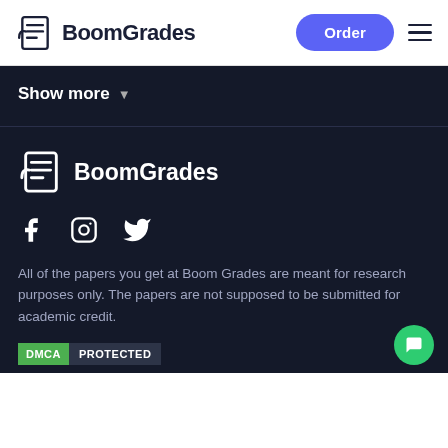BoomGrades
Show more
[Figure (logo): BoomGrades logo with document icon and bold text]
[Figure (infographic): Social media icons: Facebook, Instagram, Twitter]
All of the papers you get at Boom Grades are meant for research purposes only. The papers are not supposed to be submitted for academic credit.
[Figure (logo): DMCA PROTECTED badge]